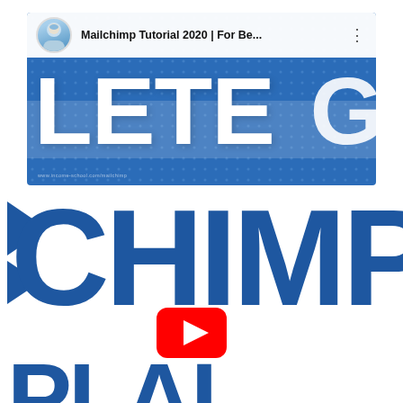[Figure (screenshot): YouTube video thumbnail screenshot showing 'Mailchimp Tutorial 2020 | For Be...' with large white text 'LETE' on a blue dotted background, with a circular avatar photo and three-dot menu icon in the top bar.]
[Figure (screenshot): Partial large blue bold text 'HIMP' visible (part of 'MAILCHIMP') on white background, with play arrow chevrons on the left, and a YouTube play button icon below, and partial text 'PLAI' at bottom (part of 'PLAY').]